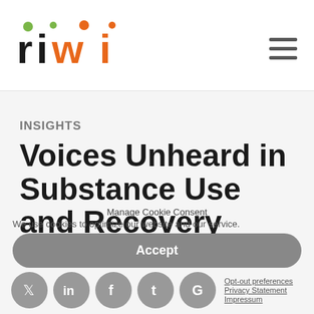[Figure (logo): RIWI logo with colorful dots above letters r, i, w, i in black, green, orange color scheme]
INSIGHTS
Voices Unheard in Substance Use and Recovery
Nov 12, 2021
Manage Cookie Consent
We use cookies to optimize our website and our service.
Accept
Opt-out preferences  Privacy Statement  Impressum